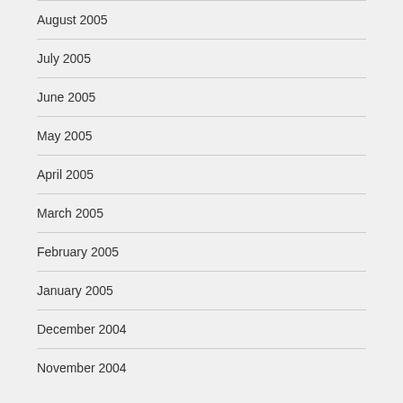August 2005
July 2005
June 2005
May 2005
April 2005
March 2005
February 2005
January 2005
December 2004
November 2004